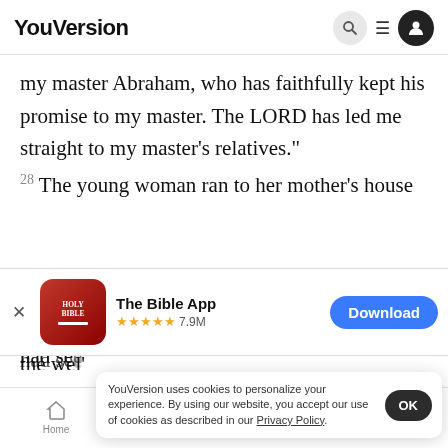YouVersion
my master Abraham, who has faithfully kept his promise to my master. The LORD has led me straight to my master's relatives."
28 The young woman ran to her mother's house
[Figure (screenshot): The Bible App promotional banner with HOLY BIBLE icon, 5 stars, 7.9M ratings, and Download button]
the wel'
had see
sister's arms and had heard her say what the man
YouVersion uses cookies to personalize your experience. By using our website, you accept our use of cookies as described in our Privacy Policy.
Home  Bible  Plans  Videos